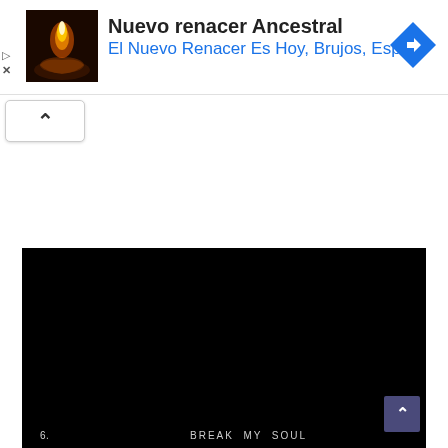[Figure (screenshot): Ad banner with thumbnail image of a candle/mystical scene, title 'Nuevo renacer Ancestral', subtitle 'El Nuevo Renacer Es Hoy, Brujos, Espi...', blue navigation arrow icon on right, play and close icons on left]
Nuevo renacer Ancestral
El Nuevo Renacer Es Hoy, Brujos, Espi...
[Figure (screenshot): White collapse/chevron-up button below the ad banner]
[Figure (screenshot): Black video area showing track number '6.' and title 'BREAK MY SOUL' at the bottom, with a purple scroll-to-top button in the lower right]
6.        BREAK MY SOUL